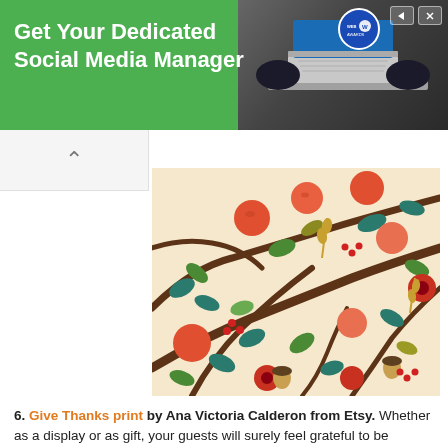[Figure (other): Green advertisement banner: 'Get Your Dedicated Social Media Manager' with Webby logo and person with laptop on right side]
[Figure (illustration): Colorful folk-art style floral pattern with autumn elements: branches, red/orange fruits, green and teal leaves, acorns, red berries, and wheat on cream background]
6. Give Thanks print by Ana Victoria Calderon from Etsy. Whether as a display or as gift, your guests will surely feel grateful to be celebrating this season with you. Ana Victoria Calderon sells this Give Thanks print via Etsy, and she also creates prints with inspirational quotes and designs for...